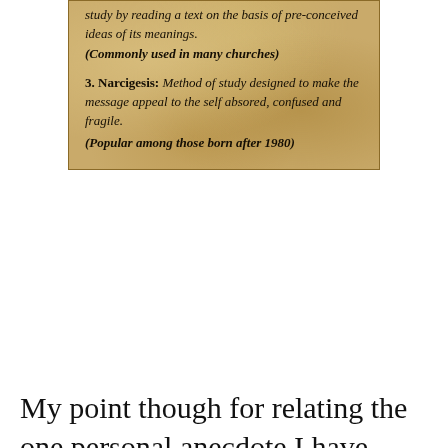[Figure (other): Parchment-textured box containing italic serif text defining 'Narcigesis' as a method of study designed to make the message appeal to the self absorbed, confused and fragile, noted as popular among those born after 1980. Also contains partial text about study by reading a text on the basis of pre-conceived ideas of its meanings, commonly used in many churches.]
My point though for relating the one personal anecdote I have concerning the great man was not that I would rather my fellow evangelical leaners be JP followers rather than TC (after all it should be JC, and Him alone) but the very things JP has been fighting for most of his life i.e. biblical orthodoxy and going back to the ancient paths, albeit in the